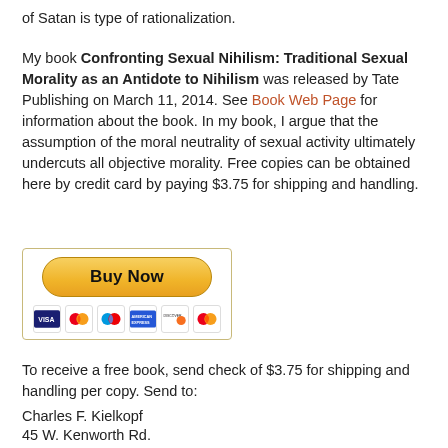of Satan is type of rationalization.
My book Confronting Sexual Nihilism: Traditional Sexual Morality as an Antidote to Nihilism was released by Tate Publishing on March 11, 2014. See Book Web Page for information about the book. In my book, I argue that the assumption of the moral neutrality of sexual activity ultimately undercuts all objective morality. Free copies can be obtained here by credit card by paying $3.75 for shipping and handling.
[Figure (other): PayPal Buy Now button with credit card logos (Visa, Mastercard, Maestro, American Express, Discover, MasterCard) inside a bordered box]
To receive a free book, send check of $3.75 for shipping and handling per copy. Send to:
Charles F. Kielkopf
45 W. Kenworth Rd.